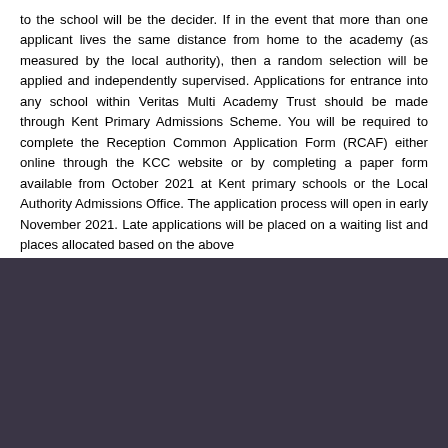to the school will be the decider. If in the event that more than one applicant lives the same distance from home to the academy (as measured by the local authority), then a random selection will be applied and independently supervised. Applications for entrance into any school within Veritas Multi Academy Trust should be made through Kent Primary Admissions Scheme. You will be required to complete the Reception Common Application Form (RCAF) either online through the KCC website or by completing a paper form available from October 2021 at Kent primary schools or the Local Authority Admissions Office. The application process will open in early November 2021. Late applications will be placed on a waiting list and places allocated based on the above
[Figure (screenshot): Cookie consent banner overlay on dark purple/grey background. Title: 'Cookie Policy'. Body text: 'This site uses cookies to store information on your computer. Click here for more information'. Two buttons: 'Allow Cookies' and 'Deny Cookies'. Close button (x) at top right. Exclamation mark icon at bottom left.]